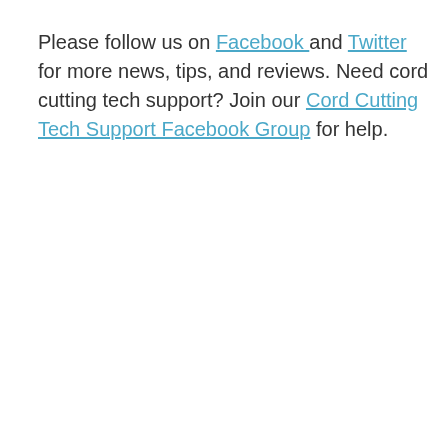Please follow us on Facebook and Twitter for more news, tips, and reviews. Need cord cutting tech support? Join our Cord Cutting Tech Support Facebook Group for help.